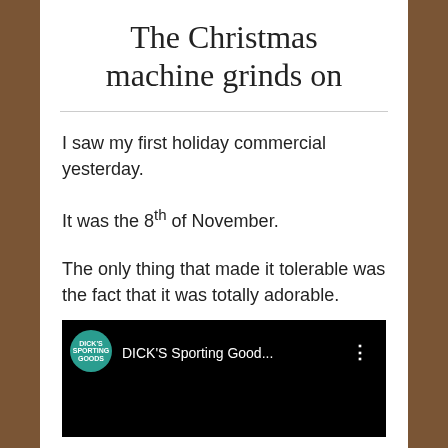The Christmas machine grinds on
I saw my first holiday commercial yesterday.
It was the 8th of November.
The only thing that made it tolerable was the fact that it was totally adorable.
[Figure (screenshot): YouTube video thumbnail showing DICK'S Sporting Good... channel with green circular logo on black background]